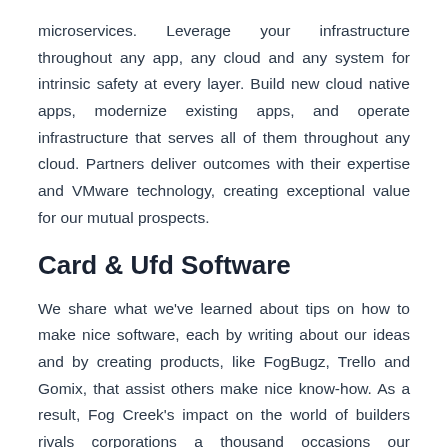microservices. Leverage your infrastructure throughout any app, any cloud and any system for intrinsic safety at every layer. Build new cloud native apps, modernize existing apps, and operate infrastructure that serves all of them throughout any cloud. Partners deliver outcomes with their expertise and VMware technology, creating exceptional value for our mutual prospects.
Card & Ufd Software
We share what we've learned about tips on how to make nice software, each by writing about our ideas and by creating products, like FogBugz, Trello and Gomix, that assist others make nice know-how. As a result, Fog Creek's impact on the world of builders rivals corporations a thousand occasions our measurement. FME Desktop Connect functions and transform data in a couple of fast clicks with FME Desktop. FME Server Run workflows in actual time utilizing FME Server using